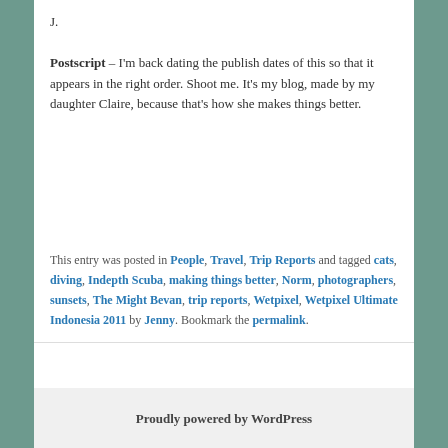J.
Postscript – I'm back dating the publish dates of this so that it appears in the right order. Shoot me. It's my blog, made by my daughter Claire, because that's how she makes things better.
This entry was posted in People, Travel, Trip Reports and tagged cats, diving, Indepth Scuba, making things better, Norm, photographers, sunsets, The Might Bevan, trip reports, Wetpixel, Wetpixel Ultimate Indonesia 2011 by Jenny. Bookmark the permalink.
Proudly powered by WordPress